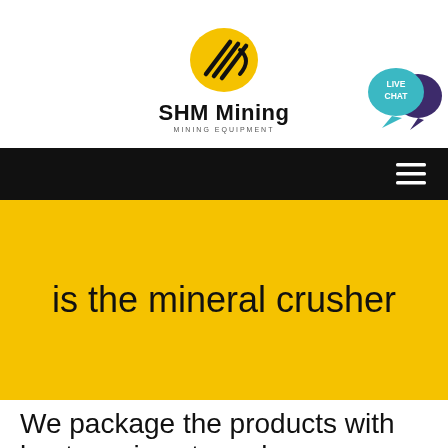[Figure (logo): SHM Mining logo: yellow oval with black diagonal lines/stripes icon, bold text 'SHM Mining' below, subtitle 'MINING EQUIPMENT' in small caps]
[Figure (illustration): Live Chat bubble icon: teal speech bubble with 'LIVE CHAT' text, overlapping dark purple speech bubble]
[Figure (other): Black navigation bar with white hamburger menu icon (three horizontal lines) on the right]
is the mineral crusher
We package the products with best services to make you a happy